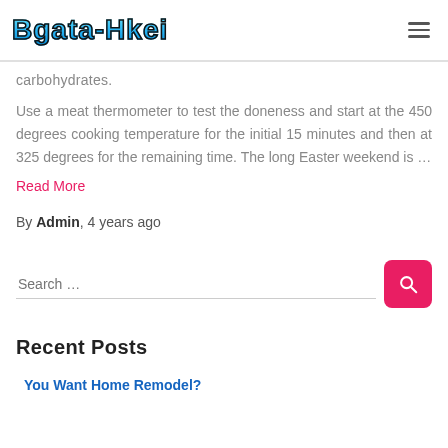Bgata-Hkei
carbohydrates.
Use a meat thermometer to test the doneness and start at the 450 degrees cooking temperature for the initial 15 minutes and then at 325 degrees for the remaining time. The long Easter weekend is …
Read More
By Admin, 4 years ago
Search …
Recent Posts
You Want Home Remodel?